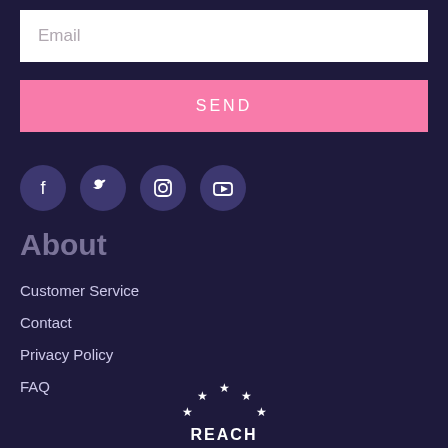Email
SEND
[Figure (infographic): Four social media icon circles: Facebook, Twitter, Instagram, YouTube]
About
Customer Service
Contact
Privacy Policy
FAQ
[Figure (logo): REACH logo with stars in circular arrangement]